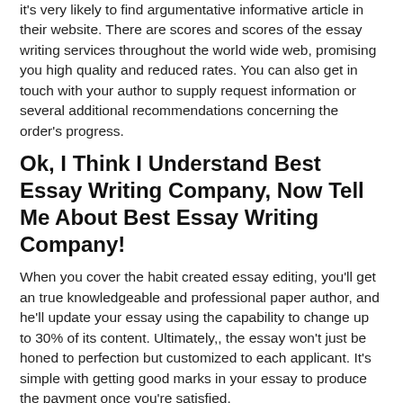it's very likely to find argumentative informative article in their website. There are scores and scores of the essay writing services throughout the world wide web, promising you high quality and reduced rates. You can also get in touch with your author to supply request information or several additional recommendations concerning the order's progress.
Ok, I Think I Understand Best Essay Writing Company, Now Tell Me About Best Essay Writing Company!
When you cover the habit created essay editing, you'll get an true knowledgeable and professional paper author, and he'll update your essay using the capability to change up to 30% of its content. Ultimately,, the essay won't just be honed to perfection but customized to each applicant. It's simple with getting good marks in your essay to produce the payment once you're satisfied.
The students are predicted to commit their precious time and effort into writing something which will frequently don't have any objective value besides the faculty complying with a number of their requirements. It is dependent upon your knowledge of developing what's called streaming sentences. It's dependent upon your knowledge of creating as streaming sentences what's known.
Best Essay Writing Company Can Be